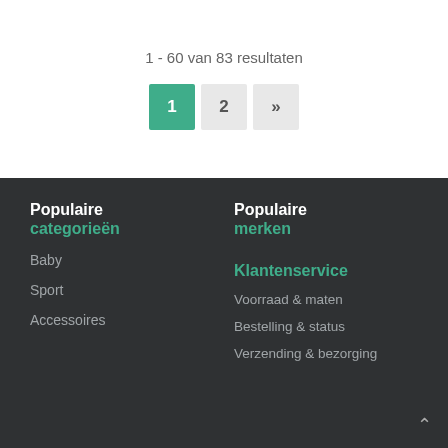1 - 60 van 83 resultaten
1  2  »
Populaire categorieën
Baby
Sport
Accessoires
Populaire merken
Klantenservice
Voorraad & maten
Bestelling & status
Verzending & bezorging